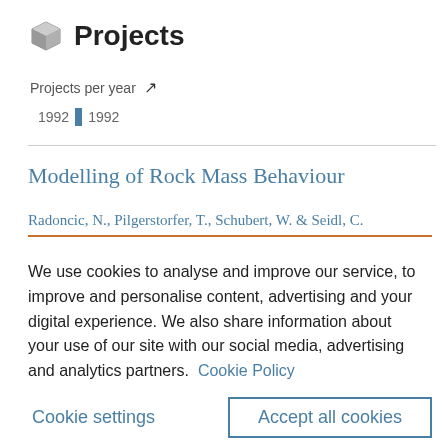Projects
Projects per year
1992 1992
Modelling of Rock Mass Behaviour
Radoncic, N., Pilgerstorfer, T., Schubert, W. & Seidl, C.
We use cookies to analyse and improve our service, to improve and personalise content, advertising and your digital experience. We also share information about your use of our site with our social media, advertising and analytics partners.  Cookie Policy
Cookie settings
Accept all cookies